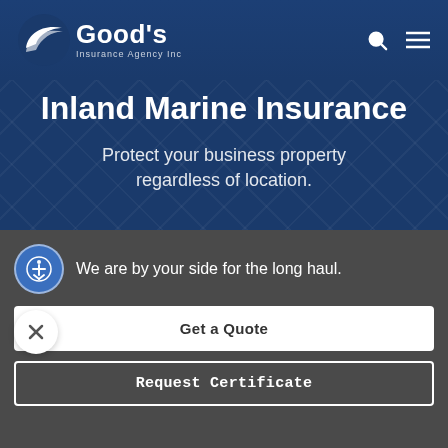[Figure (logo): Good's Insurance Agency Inc logo with stylized C arrow icon in white on blue background]
Inland Marine Insurance
Protect your business property regardless of location.
We are by your side for the long haul.
Get a Quote
Request Certificate